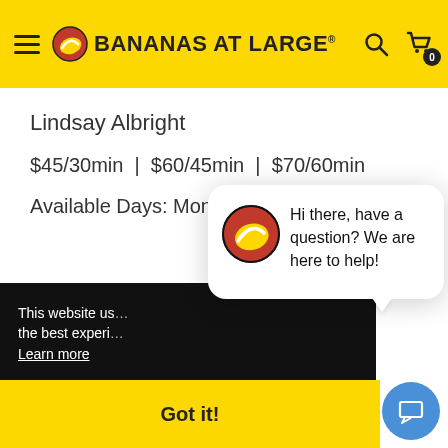BANANAS AT LARGE
Lindsay Albright
$45/30min | $60/45min | $70/60min
Available Days: Mon, Tue, Wed, Thu
[Figure (screenshot): Chat popup with Bananas at Large logo icon saying: Hi there, have a question? We are here to help!]
This website us... the best experi... Learn more
Got it!